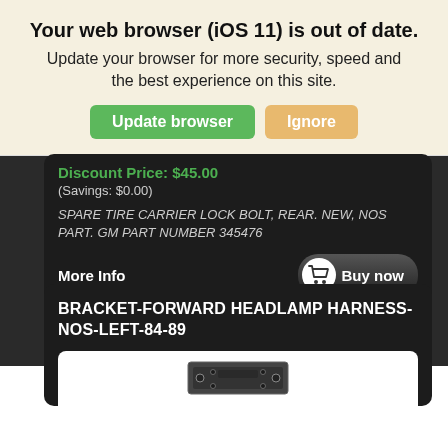Your web browser (iOS 11) is out of date.
Update your browser for more security, speed and the best experience on this site.
Update browser | Ignore
Discount Price: $45.00
(Savings: $0.00)
SPARE TIRE CARRIER LOCK BOLT, REAR. NEW, NOS PART. GM PART NUMBER 345476
More Info
Buy now
BRACKET-FORWARD HEADLAMP HARNESS-NOS-LEFT-84-89
[Figure (photo): Photo of a bracket part for headlamp harness]